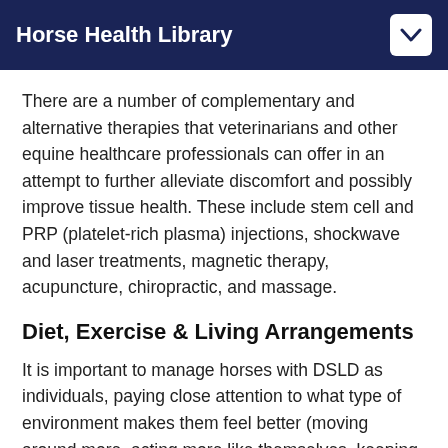Horse Health Library
There are a number of complementary and alternative therapies that veterinarians and other equine healthcare professionals can offer in an attempt to further alleviate discomfort and possibly improve tissue health. These include stem cell and PRP (platelet-rich plasma) injections, shockwave and laser treatments, magnetic therapy, acupuncture, chiropractic, and massage.
Diet, Exercise & Living Arrangements
It is important to manage horses with DSLD as individuals, paying close attention to what type of environment makes them feel better (moving around more, acting more like themselves, keeping weight on) and what type makes them feel worse (laying down